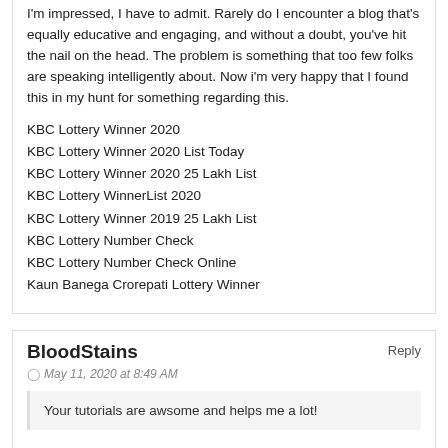I'm impressed, I have to admit. Rarely do I encounter a blog that's equally educative and engaging, and without a doubt, you've hit the nail on the head. The problem is something that too few folks are speaking intelligently about. Now i'm very happy that I found this in my hunt for something regarding this.
KBC Lottery Winner 2020
KBC Lottery Winner 2020 List Today
KBC Lottery Winner 2020 25 Lakh List
KBC Lottery WinnerList 2020
KBC Lottery Winner 2019 25 Lakh List
KBC Lottery Number Check
KBC Lottery Number Check Online
Kaun Banega Crorepati Lottery Winner
BloodStains
May 11, 2020 at 8:49 AM
Your tutorials are awsome and helps me a lot!